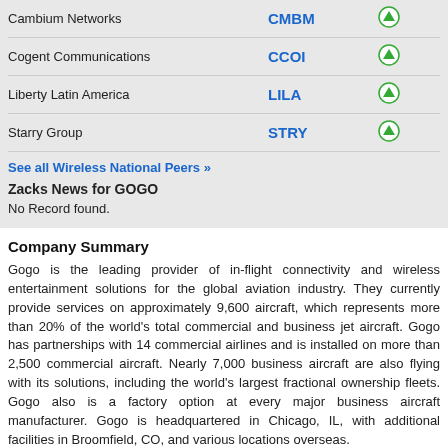| Company | Ticker | Signal |
| --- | --- | --- |
| Cambium Networks | CMBM | ↑ |
| Cogent Communications | CCOI | ↑ |
| Liberty Latin America | LILA | ↑ |
| Starry Group | STRY | ↑ |
See all Wireless National Peers »
Zacks News for GOGO
No Record found.
Company Summary
Gogo is the leading provider of in-flight connectivity and wireless entertainment solutions for the global aviation industry. They currently provide services on approximately 9,600 aircraft, which represents more than 20% of the world's total commercial and business jet aircraft. Gogo has partnerships with 14 commercial airlines and is installed on more than 2,500 commercial aircraft. Nearly 7,000 business aircraft are also flying with its solutions, including the world's largest fractional ownership fleets. Gogo also is a factory option at every major business aircraft manufacturer. Gogo is headquartered in Chicago, IL, with additional facilities in Broomfield, CO, and various locations overseas.
Full Company Report for GOGO »